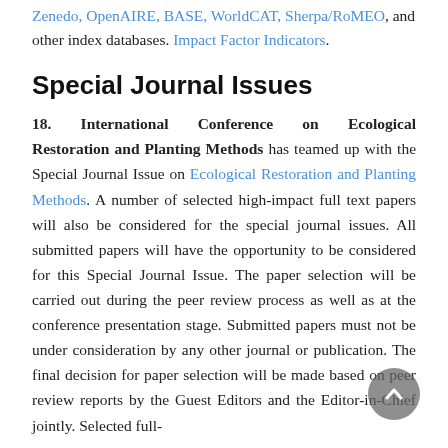Zenedo, OpenAIRE, BASE, WorldCAT, Sherpa/RoMEO, and other index databases. Impact Factor Indicators.
Special Journal Issues
18. International Conference on Ecological Restoration and Planting Methods has teamed up with the Special Journal Issue on Ecological Restoration and Planting Methods. A number of selected high-impact full text papers will also be considered for the special journal issues. All submitted papers will have the opportunity to be considered for this Special Journal Issue. The paper selection will be carried out during the peer review process as well as at the conference presentation stage. Submitted papers must not be under consideration by any other journal or publication. The final decision for paper selection will be made based on peer review reports by the Guest Editors and the Editor-in-Chief jointly. Selected full-